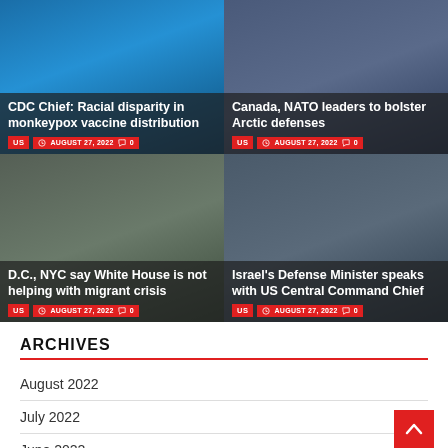[Figure (photo): News card: woman speaking at podium with blue background. Title: CDC Chief: Racial disparity in monkeypox vaccine distribution. US, August 27, 2022, 0 comments.]
[Figure (photo): News card: flags at a podium, likely Canadian/NATO flags. Title: Canada, NATO leaders to bolster Arctic defenses. US, August 27, 2022, 0 comments.]
[Figure (photo): News card: bus/vehicle in field. Title: D.C., NYC say White House is not helping with migrant crisis. US, August 27, 2022, 0 comments.]
[Figure (photo): News card: man's face close-up. Title: Israel's Defense Minister speaks with US Central Command Chief. US, August 27, 2022, 0 comments.]
ARCHIVES
August 2022
July 2022
June 2022